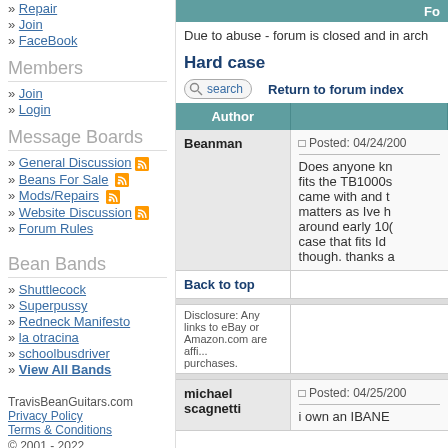» Repair
» Join
» FaceBook
Members
» Join
» Login
Message Boards
» General Discussion
» Beans For Sale
» Mods/Repairs
» Website Discussion
» Forum Rules
Bean Bands
» Shuttlecock
» Superpussy
» Redneck Manifesto
» la otracina
» schoolbusdriver
» View All Bands
TravisBeanGuitars.com
Privacy Policy
Terms & Conditions
© 2001 - 2022
Due to abuse - forum is closed and in arch
Hard case
Return to forum index
| Author |  |
| --- | --- |
| Beanman | Posted: 04/24/200...
Does anyone kn... fits the TB1000s... came with and t... matters as Ive h... around early 10... case that fits Id... though. thanks a... |
| Back to top |  |
| michael scagnetti | Posted: 04/25/200...
i own an IBANE... |
Disclosure: Any links to eBay or Amazon.com are affi... purchases.